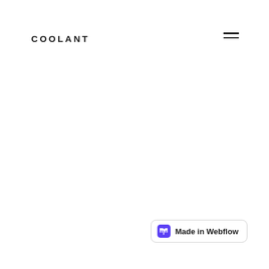COOLANT
[Figure (other): Hamburger menu icon (two horizontal lines) in the top-right corner]
Made in Webflow